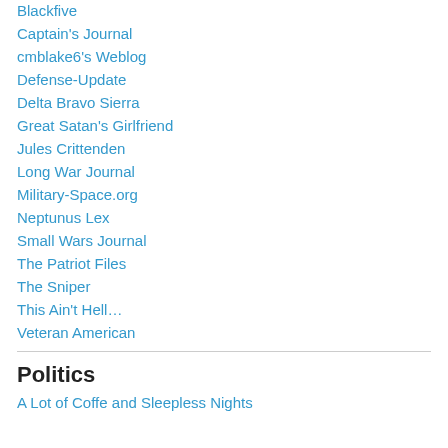Blackfive
Captain's Journal
cmblake6's Weblog
Defense-Update
Delta Bravo Sierra
Great Satan's Girlfriend
Jules Crittenden
Long War Journal
Military-Space.org
Neptunus Lex
Small Wars Journal
The Patriot Files
The Sniper
This Ain't Hell…
Veteran American
Politics
A Lot of Coffe and Sleepless Nights